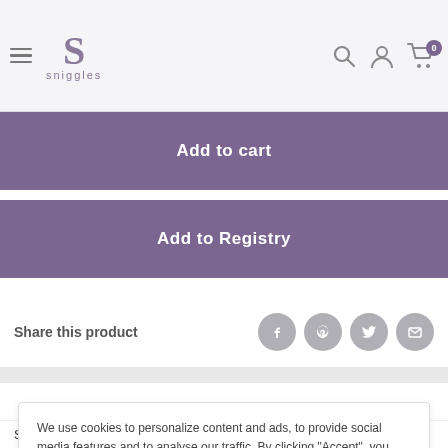sniggles
Add to cart
Add to Registry
Share this product
We use cookies to personalize content and ads, to provide social media features and to analyse our traffic. By clicking "Accept", you agree to our use of cookies and similar technologies.
Accept
SnüzPod3protector is made using soft cotton layers and a